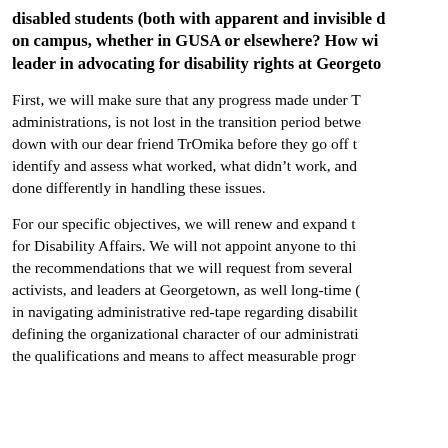disabled students (both with apparent and invisible disabilities) on campus, whether in GUSA or elsewhere? How will you be a leader in advocating for disability rights at Georgetown?
First, we will make sure that any progress made under TrOmika administrations, is not lost in the transition period between. We will sit down with our dear friend TrOmika before they go off to identify and assess what worked, what didn't work, and what could be done differently in handling these issues.
For our specific objectives, we will renew and expand the Vice President for Disability Affairs. We will not appoint anyone to this role without the recommendations that we will request from several disability activists, and leaders at Georgetown, as well long-time Hoyas experienced in navigating administrative red-tape regarding disability issues. Central in defining the organizational character of our administration, we will seek the qualifications and means to affect measurable progress.